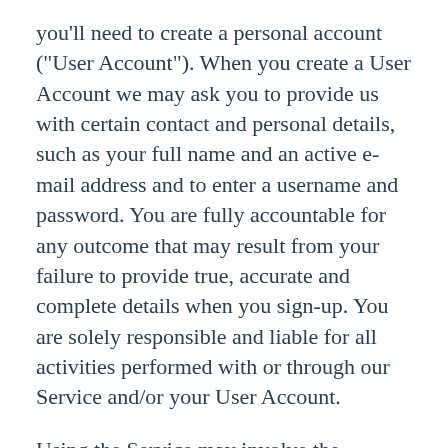you'll need to create a personal account ("User Account"). When you create a User Account we may ask you to provide us with certain contact and personal details, such as your full name and an active e-mail address and to enter a username and password. You are fully accountable for any outcome that may result from your failure to provide true, accurate and complete details when you sign-up. You are solely responsible and liable for all activities performed with or through our Service and/or your User Account.
Using the Service may involve the collection of your personal information from (a) third party platforms for which you have provided us access to, such as connected devices and your smartphone ("Third Party Platforms"), or (b) Brook-Supplied Devices. For example, we may access Service-related Content through Third